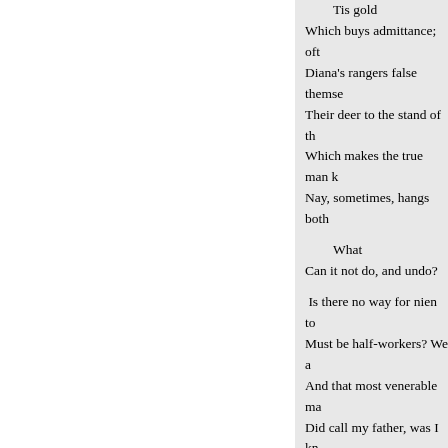Tis gold
Which buys admittance; oft
Diana's rangers false themse
Their deer to the stand of th
Which makes the true man k
Nay, sometimes, hangs both

What
Can it not do, and undo?

Is there no way for nien to
Must be half-workers? We a
And that most venerable ma
Did call my father, was I kn
When I was stamp'd; some c
Made me a counterfeit; Yet
The Dian of that time: so do
The nonpariel of this.-0 ven
* Modesty.
Me of my lawful pleasure sh
And pray'd me, olt, forbeara
A pudency* so rosy, the swe